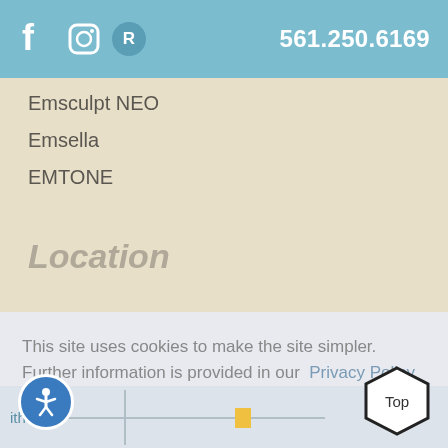561.250.6169
Emsculpt NEO
Emsella
EMTONE
Location
This site uses cookies to make the site simpler. Further information is provided in our  Privacy Policy
Accept
Top
[Figure (map): Partial street map visible at bottom of page showing location area with text 'ithetics']